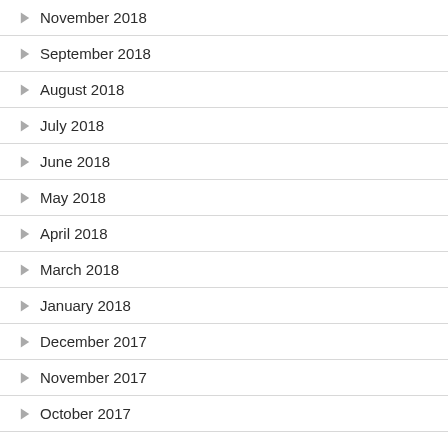November 2018
September 2018
August 2018
July 2018
June 2018
May 2018
April 2018
March 2018
January 2018
December 2017
November 2017
October 2017